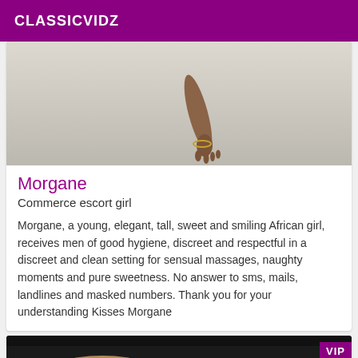CLASSICVIDZ
[Figure (photo): Photo showing a person's hand and arm on a light-colored floor surface]
Morgane
Commerce escort girl
Morgane, a young, elegant, tall, sweet and smiling African girl, receives men of good hygiene, discreet and respectful in a discreet and clean setting for sensual massages, naughty moments and pure sweetness. No answer to sms, mails, landlines and masked numbers. Thank you for your understanding Kisses Morgane
[Figure (photo): Partial photo with black bar at top and colorful background, VIP badge in top right corner]